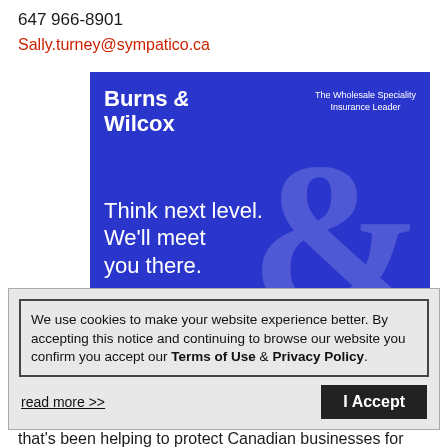647 966-8901
Sally.turney@sympatico.ca
[Figure (logo): Burns & Wilcox advertisement banner on blue background. Logo at top left reads 'Burns & Wilcox' in bold white, with tagline 'The Wholesale Speciality Insurance Leader' at top right. Large stylized '&' symbol decorates right side. Slogan reads 'Think next level. We'll meet you there.']
We use cookies to make your website experience better. By accepting this notice and continuing to browse our website you confirm you accept our Terms of Use & Privacy Policy.
read more >>
I Accept
that's been helping to protect Canadian businesses for